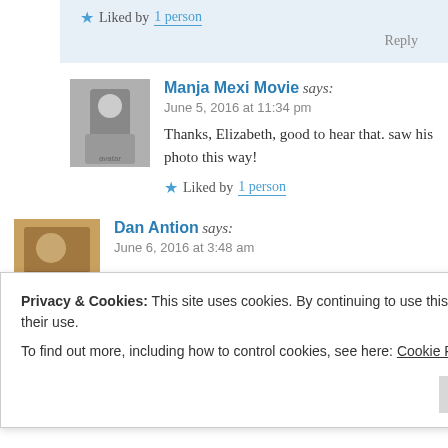★ Liked by 1 person
Reply
[Figure (photo): Black and white avatar photo of Manja Mexi Movie]
Manja Mexi Movie says:
June 5, 2016 at 11:34 pm
Thanks, Elizabeth, good to hear that. saw his photo this way!
★ Liked by 1 person
[Figure (photo): Color avatar photo of Dan Antion]
Dan Antion says:
June 6, 2016 at 3:48 am
Privacy & Cookies: This site uses cookies. By continuing to use this website, you agree to their use.
To find out more, including how to control cookies, see here: Cookie Policy
Close and accept